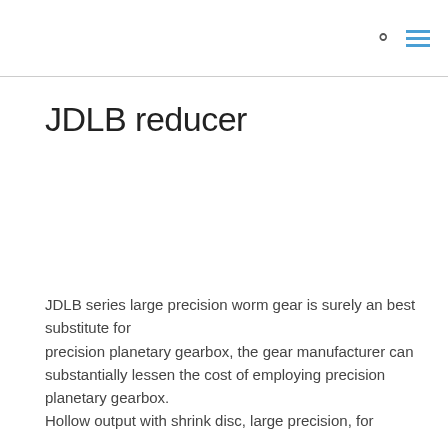🔍 ≡
JDLB reducer
JDLB series large precision worm gear is surely an best substitute for precision planetary gearbox, the gear manufacturer can substantially lessen the cost of employing precision planetary gearbox. Hollow output with shrink disc, large precision, for